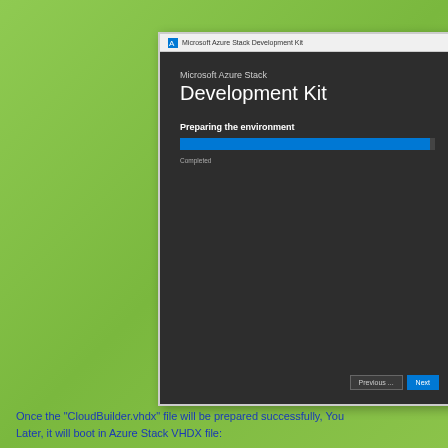[Figure (screenshot): Microsoft Azure Stack Development Kit setup wizard screenshot showing 'Preparing the environment' with a blue progress bar marked 'Completed', and Previous/Next buttons at bottom right.]
Once the "CloudBuilder.vhdx" file will be prepared successfully, You Later, it will boot in Azure Stack VHDX file: